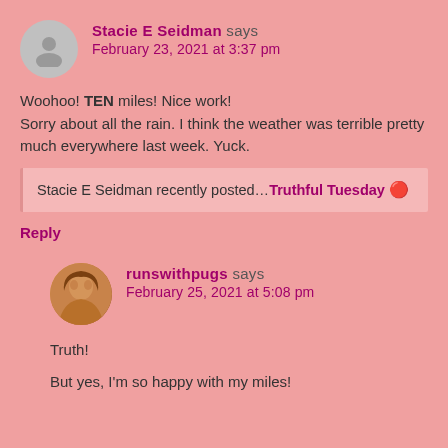Stacie E Seidman says
February 23, 2021 at 3:37 pm
Woohoo! TEN miles! Nice work!
Sorry about all the rain. I think the weather was terrible pretty much everywhere last week. Yuck.
Stacie E Seidman recently posted…Truthful Tuesday 🔴
Reply
runswithpugs says
February 25, 2021 at 5:08 pm
Truth!
But yes, I'm so happy with my miles!